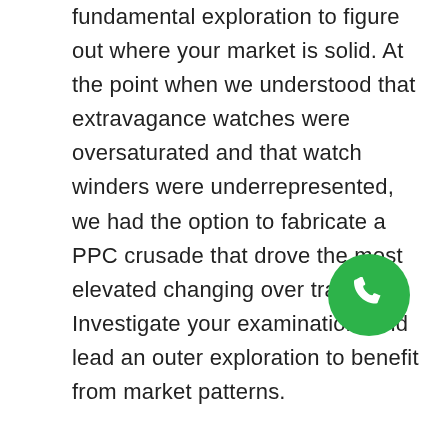fundamental exploration to figure out where your market is solid. At the point when we understood that extravagance watches were oversaturated and that watch winders were underrepresented, we had the option to fabricate a PPC crusade that drove the most elevated changing over traffic. Investigate your examination, and lead an outer exploration to benefit from market patterns.

The AdWords Keyword Planner, referenced prior, can likewise be extremely useful. With this helpful device, you can decide the theme of rivalry for any possible watchword, just as the proposed bid and other significant factors.
[Figure (other): Green circular phone/call button icon]